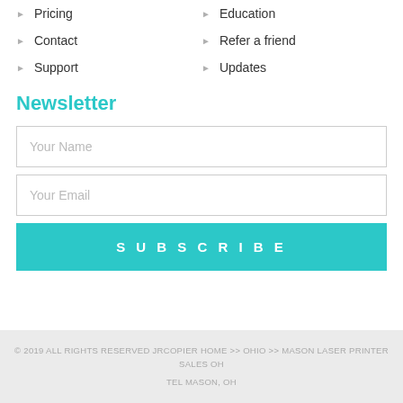Pricing
Education
Contact
Refer a friend
Support
Updates
Newsletter
Your Name
Your Email
SUBSCRIBE
© 2019 ALL RIGHTS RESERVED JRCOPIER HOME >> OHIO >> MASON LASER PRINTER SALES OH
TEL MASON, OH